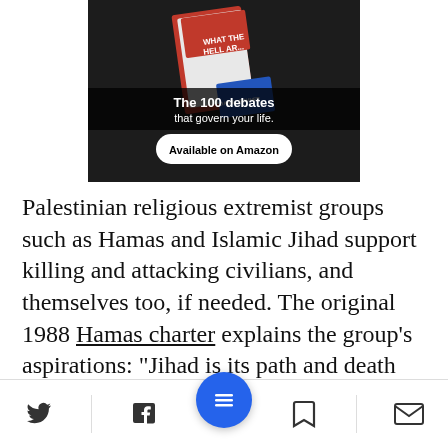[Figure (advertisement): Book advertisement with dark background showing a book titled 'What The Hell Are...' by Daniel Ravner. Text reads 'The 100 debates that govern your life.' with 'Available on Amazon' button.]
Palestinian religious extremist groups such as Hamas and Islamic Jihad support killing and attacking civilians, and themselves too, if needed. The original 1988 Hamas charter explains the group's aspirations: "Jihad is its path and death for the sake of Allah is the
[Figure (infographic): Bottom navigation bar with Twitter, Facebook, menu (blue circle), bookmark, and email icons.]